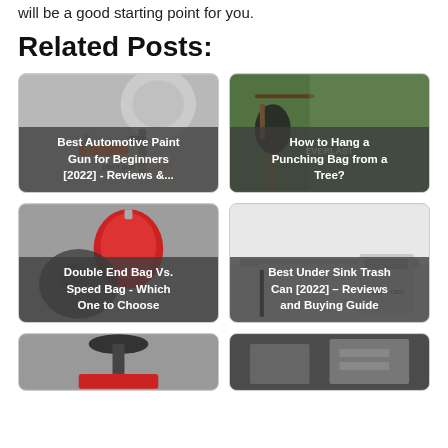will be a good starting point for you.
Related Posts:
[Figure (photo): Automotive paint gun on stand, metallic silver, with orange components]
Best Automotive Paint Gun for Beginners [2022] - Reviews &...
[Figure (photo): A punching bag hanging from a tree outdoors, Everlast brand]
How to Hang a Punching Bag from a Tree?
[Figure (photo): Red double end speed bag with person in background]
Double End Bag Vs. Speed Bag - Which One to Choose
[Figure (photo): Under-sink trash can, white and black, mounted under sink]
Best Under Sink Trash Can [2022] – Reviews and Buying Guide
[Figure (photo): Bottom partial card, black equipment visible, red base]
[Figure (photo): Bottom partial card, dark room with equipment]